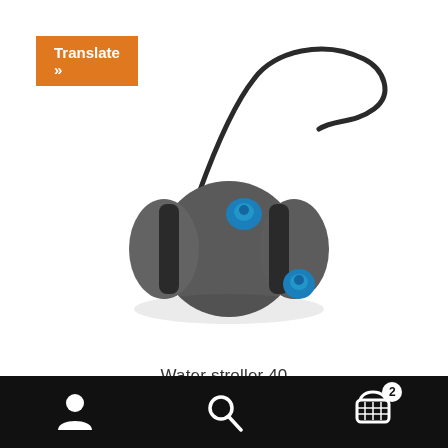[Figure (screenshot): Orange 'Translate »' button in top-left corner of a web/app page]
[Figure (photo): A gray cylindrical water stroller/roller container (Water stroller 40) with blue valve caps and a black handle/strap, shown at an angle on white background]
Water stroller 40
[Figure (infographic): Black bottom navigation bar with three icons: user/person icon, search/magnifying glass icon, and shopping cart icon with badge showing '2']